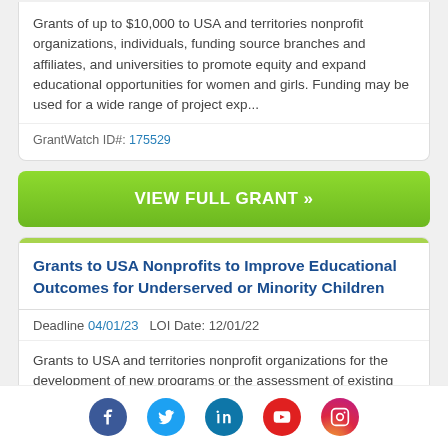Grants of up to $10,000 to USA and territories nonprofit organizations, individuals, funding source branches and affiliates, and universities to promote equity and expand educational opportunities for women and girls. Funding may be used for a wide range of project exp...
GrantWatch ID#: 175529
VIEW FULL GRANT »
Grants to USA Nonprofits to Improve Educational Outcomes for Underserved or Minority Children
Deadline 04/01/23   LOI Date: 12/01/22
Grants to USA and territories nonprofit organizations for the development of new programs or the assessment of existing programs that promote educational success for
[Figure (infographic): Social media icons row: Facebook (blue circle), Twitter (light blue circle), LinkedIn (teal circle), YouTube (red circle), Instagram (pink/purple gradient circle)]